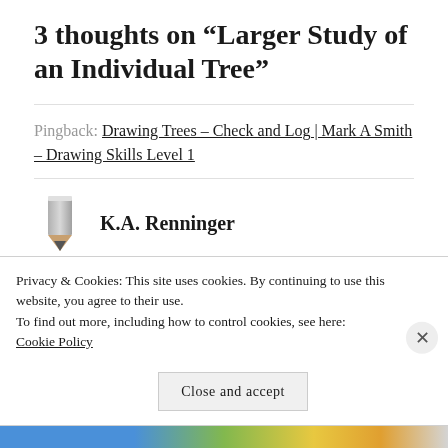3 thoughts on “Larger Study of an Individual Tree”
Pingback: Drawing Trees – Check and Log | Mark A Smith – Drawing Skills Level 1
K.A. Renninger
Privacy & Cookies: This site uses cookies. By continuing to use this website, you agree to their use.
To find out more, including how to control cookies, see here:
Cookie Policy
Close and accept